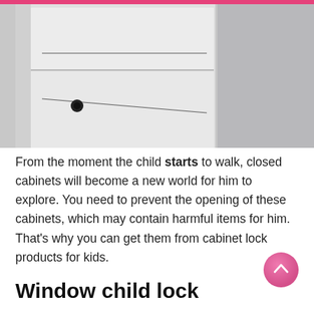[Figure (photo): Close-up photo of white cabinet drawers with a small black round knob handle, against a light grey background.]
From the moment the child starts to walk, closed cabinets will become a new world for him to explore. You need to prevent the opening of these cabinets, which may contain harmful items for him. That’s why you can get them from cabinet lock products for kids.
Window child lock